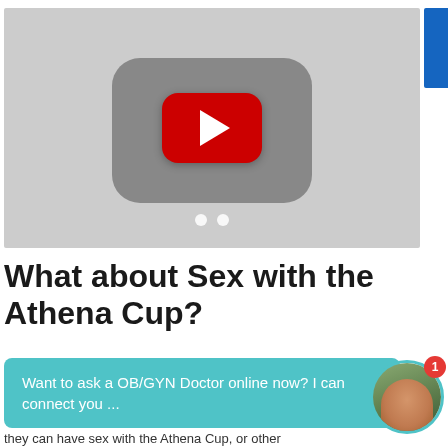[Figure (screenshot): YouTube video thumbnail with gray background, YouTube play button (red rounded rectangle with white triangle), and a shadowed YouTube logo shape below.]
What about Sex with the Athena Cup?
Want to ask a OB/GYN Doctor online now? I can connect you ...
they can have sex with the Athena Cup, or other